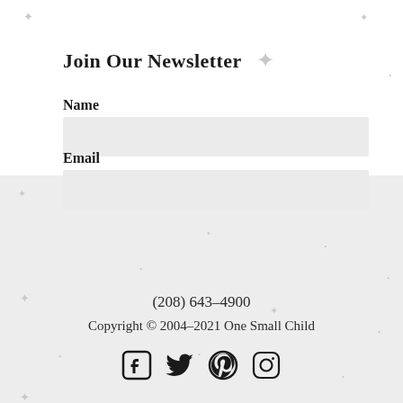Join Our Newsletter
Name
Email
SUBSCRIBE
(208) 643–4900
Copyright © 2004–2021 One Small Child
[Figure (other): Social media icons: Facebook, Twitter, Pinterest, Instagram]